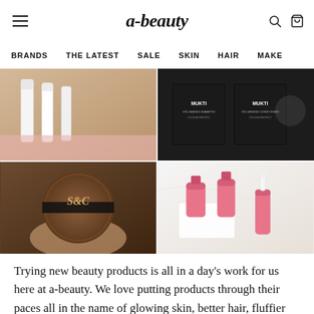a-beauty
BRANDS  THE LATEST  SALE  SKIN  HAIR  MAKE
[Figure (photo): Four-panel image grid showing beauty products: top-left shows cosmetic tubes/sticks on pink background, top-right shows MUKTI branded shampoo and conditioner boxes on dark background, bottom-left shows a circular wooden S&C branded compact held in hand, bottom-right shows pink cosmetic bottles and dropper bottles on marble background.]
Trying new beauty products is all in a day's work for us here at a-beauty. We love putting products through their paces all in the name of glowing skin, better hair, fluffier brows, and everything in between. Every now and again there are products that truly impress us and earn themselves a permanent spot in our